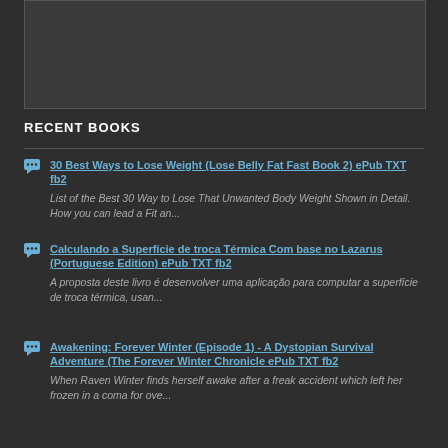[Figure (other): Gray placeholder image box at the top of the page]
RECENT BOOKS
30 Best Ways to Lose Weight (Lose Belly Fat Fast Book 2) ePub TXT fb2 — List of the Best 30 Way to Lose That Unwanted Body Weight Shown in Detail. How you can lead a Fit an...
Calculando a Superfície de troca Térmica Com base no Lazarus (Portuguese Edition) ePub TXT fb2 — A proposta deste livro é desenvolver uma aplicação para computar a superfície de troca térmica, usan...
Awakening: Forever Winter (Episode 1) - A Dystopian Survival Adventure (The Forever Winter Chronicle ePub TXT fb2 — When Raven Winter finds herself awake after a freak accident which left her frozen in a coma for ove...